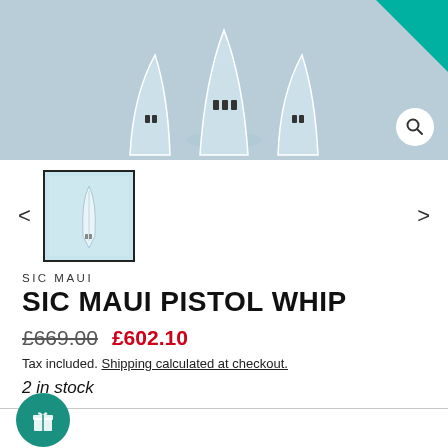[Figure (photo): Product image showing surfboard fins in light blue/cyan color on a teal-blue background, with a teal corner accent and zoom button]
[Figure (photo): Thumbnail image showing the SIC Maui Pistol Whip surfboard product, front view on cyan background]
SIC MAUI
SIC MAUI PISTOL WHIP
£669.00  £602.10
Tax included. Shipping calculated at checkout.
2 in stock
COLOUR — Cyan